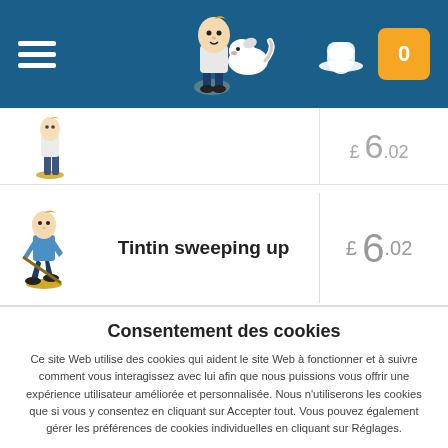[Figure (screenshot): Website header with blue background, hamburger menu icon on left, Tintin and Milou logo in center, hat icon and orange cart badge with 0 on right]
| Image | Product | Price |
| --- | --- | --- |
| [figurine] | Tintin sweeping up | £ 6.02 |
Consentement des cookies
Ce site Web utilise des cookies qui aident le site Web à fonctionner et à suivre comment vous interagissez avec lui afin que nous puissions vous offrir une expérience utilisateur améliorée et personnalisée. Nous n'utiliserons les cookies que si vous y consentez en cliquant sur Accepter tout. Vous pouvez également gérer les préférences de cookies individuelles en cliquant sur Réglages.